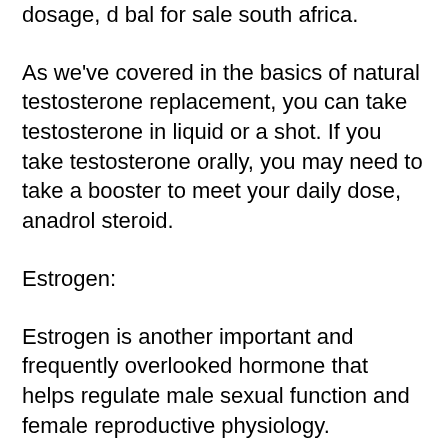dosage, d bal for sale south africa.
As we've covered in the basics of natural testosterone replacement, you can take testosterone in liquid or a shot. If you take testosterone orally, you may need to take a booster to meet your daily dose, anadrol steroid.
Estrogen:
Estrogen is another important and frequently overlooked hormone that helps regulate male sexual function and female reproductive physiology.
When you start testosterone replacement, you will usually need to take estrogen for at least a week, d bal bodybuilding. Although estrogen is commonly considered to be a sex hormone, it actually is another hormone produced in